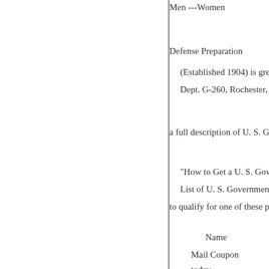Men ---Women
Defense Preparation
(Established 1904) is greatly
Dept. G-260, Rochester, N. Y
a full description of U. S. Gove
"How to Get a U. S. Governm
List of U. S. Government Job
to qualify for one of these posit
Name
Mail Coupon
today-
SURE
Address
Use This Coupon Before Y